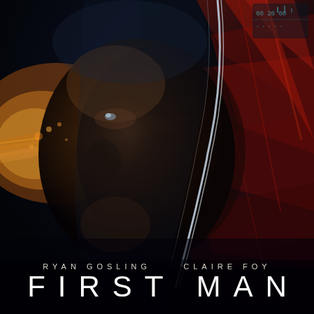[Figure (photo): Movie poster for First Man. A dramatic close-up of a man's face in profile wearing a space helmet with visor reflections and streaks of orange, red and white light. The background shows blurred motion streaks in dark blue, red and orange tones suggesting speed and space travel. Upper right shows cockpit instrument panel details.]
RYAN GOSLING   CLAIRE FOY
FIRST MAN